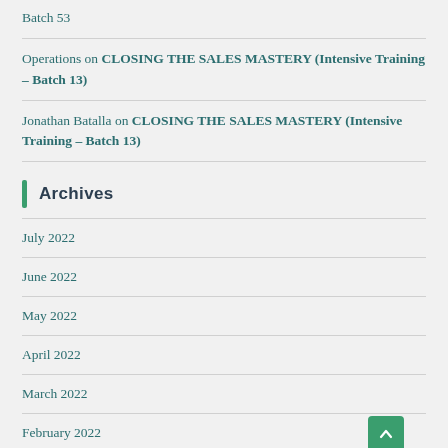Batch 53
Operations on CLOSING THE SALES MASTERY (Intensive Training – Batch 13)
Jonathan Batalla on CLOSING THE SALES MASTERY (Intensive Training – Batch 13)
Archives
July 2022
June 2022
May 2022
April 2022
March 2022
February 2022